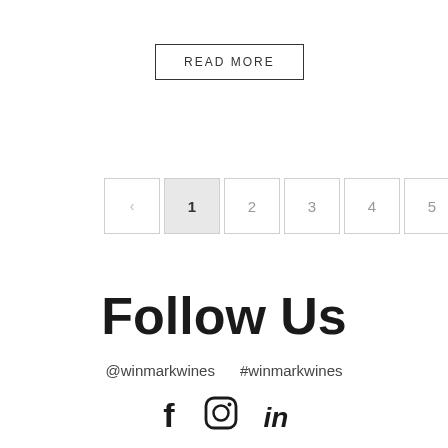READ MORE
[Figure (other): Pagination control with left arrow, page numbers 1 (active/highlighted), 2, 3, 4, 5, and right arrow]
Follow Us
@winmarkwines    #winmarkwines
[Figure (other): Social media icons: Facebook (f), Instagram (camera circle), LinkedIn (in)]